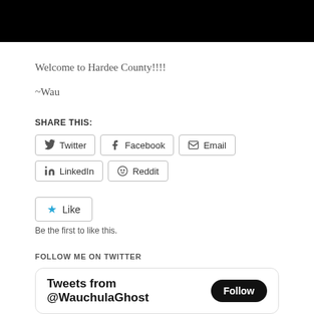[Figure (photo): Black header bar/image at top of page]
Welcome to Hardee County!!!!
~Wau
SHARE THIS:
[Figure (infographic): Share buttons: Twitter, Facebook, Email, LinkedIn, Reddit]
[Figure (infographic): Like button with star icon and text 'Be the first to like this.']
FOLLOW ME ON TWITTER
[Figure (screenshot): Twitter widget showing 'Tweets from @WauchulaGhost' with a Follow button]